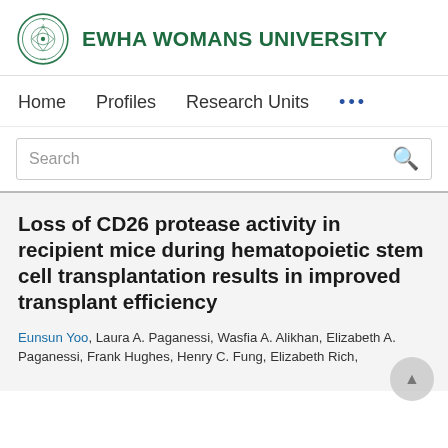EWHA WOMANS UNIVERSITY
Home   Profiles   Research Units   ...
Search
Loss of CD26 protease activity in recipient mice during hematopoietic stem cell transplantation results in improved transplant efficiency
Eunsun Yoo, Laura A. Paganessi, Wasfia A. Alikhan, Elizabeth A. Paganessi, Frank Hughes, Henry C. Fung, Elizabeth Rich,